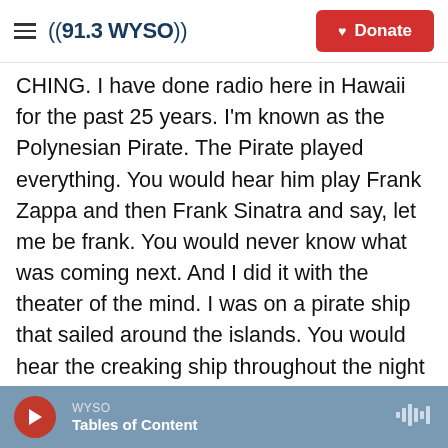((91.3 WYSO)) | Donate
CHING. I have done radio here in Hawaii for the past 25 years. I'm known as the Polynesian Pirate. The Pirate played everything. You would hear him play Frank Zappa and then Frank Sinatra and say, let me be frank. You would never know what was coming next. And I did it with the theater of the mind. I was on a pirate ship that sailed around the islands. You would hear the creaking ship throughout the night of the radio show whenever I spoke. And as I would drop anchor each night at 7 o'clock, you'd hear (mimicking drum sound). Tonight, folks, I'm off the coast of Maui and rocking your world right up until midnight.
WYSO | Tables of Content